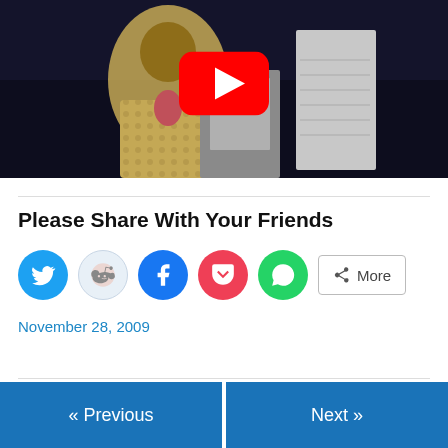[Figure (screenshot): YouTube video thumbnail showing a person in a patterned jacket standing at a podium/lectern, dark background, YouTube play button overlay in center]
Please Share With Your Friends
[Figure (infographic): Social share buttons: Twitter (blue circle), Reddit (light blue circle), Facebook (blue circle), Pocket (red circle), WhatsApp (green circle), and a More button with share icon]
November 28, 2009
« Previous
Next »